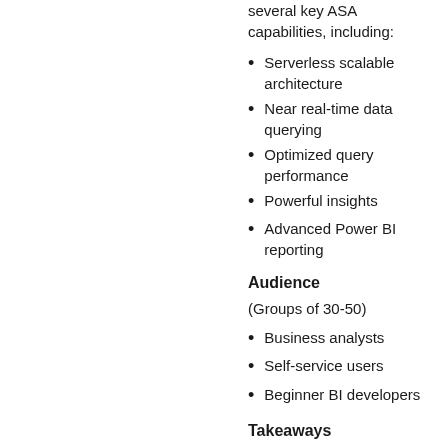several key ASA capabilities, including:
Serverless scalable architecture
Near real-time data querying
Optimized query performance
Powerful insights
Advanced Power BI reporting
Audience
(Groups of 30-50)
Business analysts
Self-service users
Beginner BI developers
Takeaways